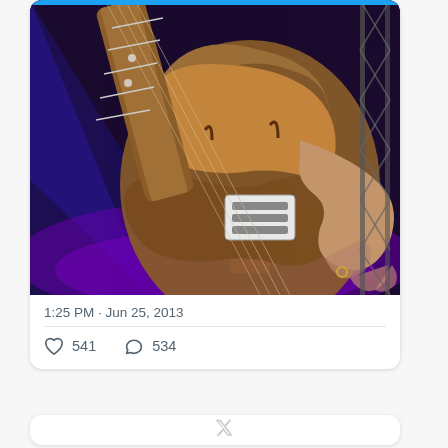[Figure (photo): Close-up photograph of a guitar being played on stage. The guitar has a warm brown/amber finish with visible frets and strings. A hand with a ring is strumming/holding the strings. Purple and blue stage lighting creates a dramatic background. Scaffolding is visible on the right side.]
1:25 PM · Jun 25, 2013
541  534